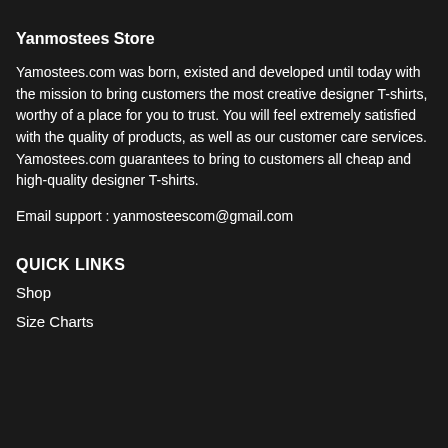Yanmostees Store
Yamostees.com was born, existed and developed until today with the mission to bring customers the most creative designer T-shirts, worthy of a place for you to trust. You will feel extremely satisfied with the quality of products, as well as our customer care services. Yamostees.com guarantees to bring to customers all cheap and high-quality designer T-shirts.
Email support : yanmosteescom@gmail.com
QUICK LINKS
Shop
Size Charts